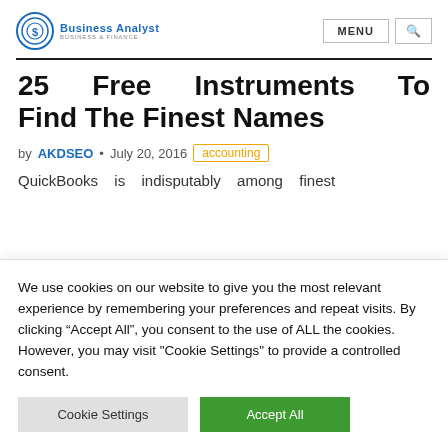Business Analyst – Business & Finance
25 Free Instruments To Find The Finest Names
by AKDSEO • July 20, 2016  accounting
QuickBooks is indisputably among finest
We use cookies on our website to give you the most relevant experience by remembering your preferences and repeat visits. By clicking "Accept All", you consent to the use of ALL the cookies. However, you may visit "Cookie Settings" to provide a controlled consent.